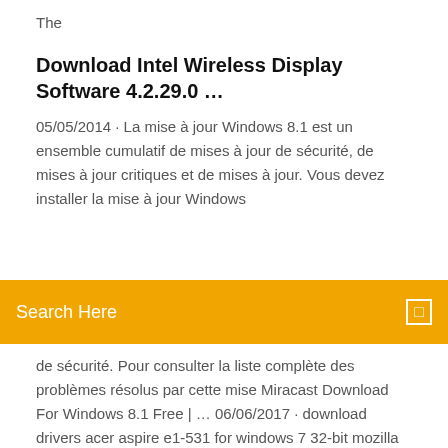The
Download Intel Wireless Display Software 4.2.29.0 …
05/05/2014 · La mise à jour Windows 8.1 est un ensemble cumulatif de mises à jour de sécurité, de mises à jour critiques et de mises à jour. Vous devez installer la mise à jour Windows
Search Here
de sécurité. Pour consulter la liste complète des problèmes résolus par cette mise Miracast Download For Windows 8.1 Free | … 06/06/2017 · download drivers acer aspire e1-531 for windows 7 32-bit mozilla firefox free download windows xp 2011 download kies for pc windows 7 64 bit winrar windows 8 download gezginler windows 8 os download 32 bit harvester game download windows 7 hp simplepass not working with ie 10 download for windows 7 viber download for windows phone 7 Android-x86 (64-bit) Download (2020 Latest) for … Windows 7 64 / Windows 8 64 / Windows 10 64. User Rating: Click to vote